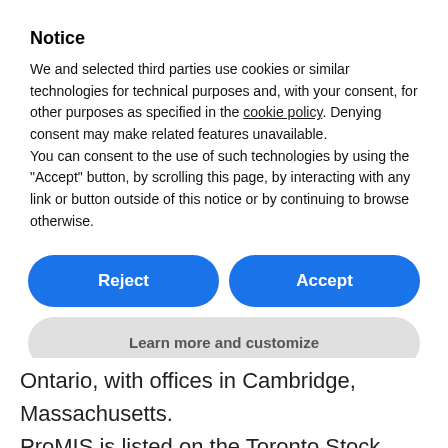Notice
We and selected third parties use cookies or similar technologies for technical purposes and, with your consent, for other purposes as specified in the cookie policy. Denying consent may make related features unavailable.
You can consent to the use of such technologies by using the “Accept” button, by scrolling this page, by interacting with any link or button outside of this notice or by continuing to browse otherwise.
Reject
Accept
Learn more and customize
Ontario, with offices in Cambridge, Massachusetts. ProMIS is listed on the Toronto Stock Exchange under the symbol PMN, and on the OTCQB Venture